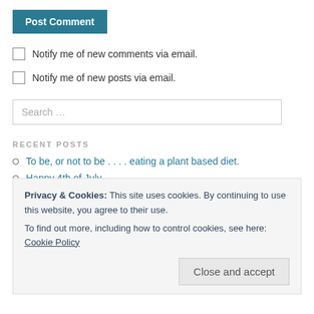Post Comment
Notify me of new comments via email.
Notify me of new posts via email.
Search ...
RECENT POSTS
To be, or not to be . . . . eating a plant based diet.
Happy 4th of July
Privacy & Cookies: This site uses cookies. By continuing to use this website, you agree to their use.
To find out more, including how to control cookies, see here: Cookie Policy
Close and accept